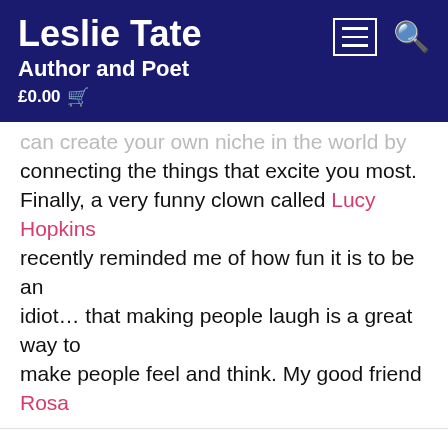Leslie Tate — Author and Poet — £0.00
can create your own niche in the world by connecting the things that excite you most. Finally, a very funny clown called Lucy Hopkins recently reminded me of how fun it is to be an idiot… that making people laugh is a great way to make people feel and think. My good friend Rosa
We use cookies on our website to give you the most relevant experience by remembering your preferences and repeat visits. By clicking "Accept All", you consent to the use of ALL the cookies. However, you may visit "Cookie Settings" to provide a controlled consent.